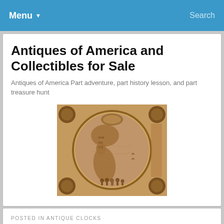Menu  Search
Antiques of America and Collectibles for Sale
Antiques of America Part adventure, part history lesson, and part treasure hunt
[Figure (illustration): Vintage antique hemispheric map of the Americas with decorative border illustrations including figures and smaller globes, in warm brown/gold tones.]
POSTED IN ANTIQUE CLOCKS
Antiques of America Video Gallery